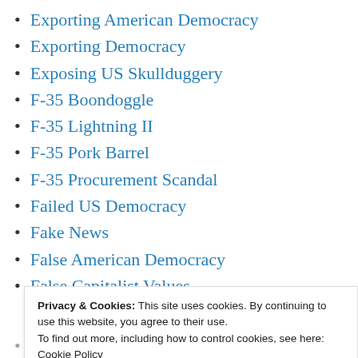Exporting American Democracy
Exporting Democracy
Exposing US Skullduggery
F-35 Boondoggle
F-35 Lightning II
F-35 Pork Barrel
F-35 Procurement Scandal
Failed US Democracy
Fake News
False American Democracy
False Capitalist Values
Privacy & Cookies: This site uses cookies. By continuing to use this website, you agree to their use.
To find out more, including how to control cookies, see here:
Cookie Policy
Falsified American History